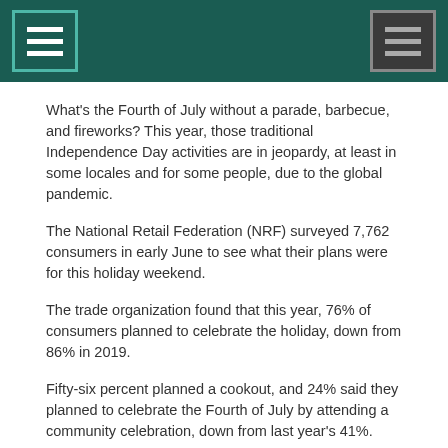[Navigation header with menu icons]
What's the Fourth of July without a parade, barbecue, and fireworks? This year, those traditional Independence Day activities are in jeopardy, at least in some locales and for some people, due to the global pandemic.
The National Retail Federation (NRF) surveyed 7,762 consumers in early June to see what their plans were for this holiday weekend.
The trade organization found that this year, 76% of consumers planned to celebrate the holiday, down from 86% in 2019.
Fifty-six percent planned a cookout, and 24% said they planned to celebrate the Fourth of July by attending a community celebration, down from last year's 41%.